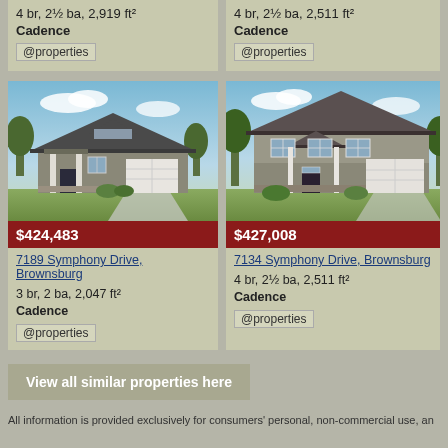4 br, 2½ ba, 2,919 ft²
Cadence
@properties
4 br, 2½ ba, 2,511 ft²
Cadence
@properties
[Figure (photo): Exterior rendering of single-story craftsman-style home with garage]
$424,483
7189 Symphony Drive, Brownsburg
3 br, 2 ba, 2,047 ft²
Cadence
@properties
[Figure (photo): Exterior rendering of two-story craftsman-style home with garage]
$427,008
7134 Symphony Drive, Brownsburg
4 br, 2½ ba, 2,511 ft²
Cadence
@properties
View all similar properties here
All information is provided exclusively for consumers' personal, non-commercial use, an